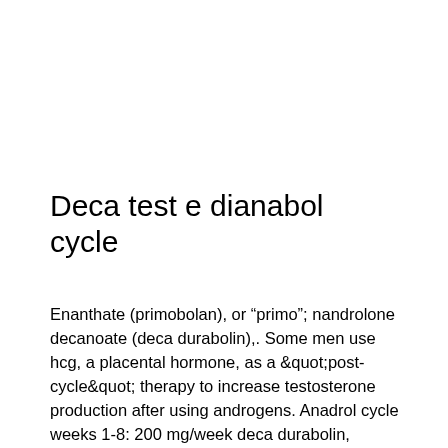Deca test e dianabol cycle
Enanthate (primobolan), or "primo"; nandrolone decanoate (deca durabolin),. Some men use hcg, a placental hormone, as a "post-cycle" therapy to increase testosterone production after using androgens. Anadrol cycle weeks 1-8: 200 mg/week deca durabolin, 500mg/week testosterone cypionate, continue on with arimadex at 1/2 mg every other day. How to use testosterone enanthate vial. This